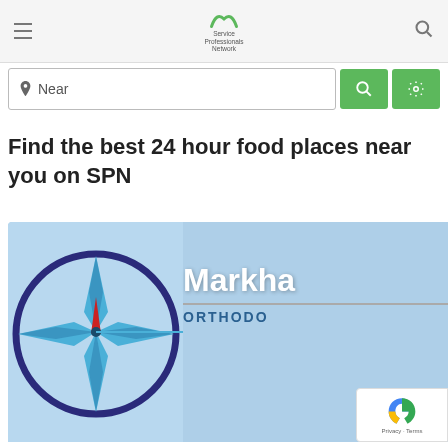Service Professionals Network
[Figure (screenshot): Search bar with location pin icon, 'Near' placeholder text, and two green buttons (search and settings)]
Find the best 24 hour food places near you on SPN
[Figure (photo): Markha Orthodontics business listing image showing a compass logo and the text 'Markha ORTHODO' partially visible, with blue background]
[Figure (other): Google reCAPTCHA badge with 'Privacy - Terms' text]